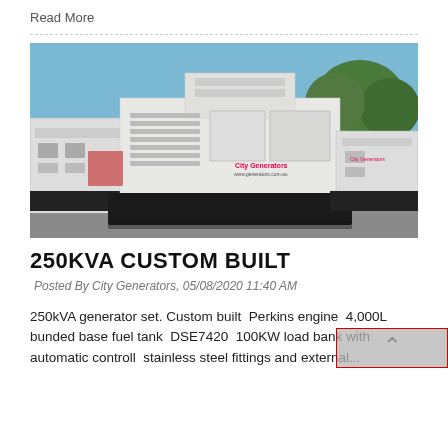Read More
[Figure (photo): Photo of a 250KVA custom built generator set in white enclosure on black bunded base tank, outdoors with trees in background. Other generator units visible to the left and right.]
250KVA CUSTOM BUILT
Posted By City Generators, 05/08/2020 11:40 AM
250kVA generator set. Custom built  Perkins engine  4,000L bunded base fuel tank  DSE7420  100KW load bank with automatic controll  stainless steel fittings and external...